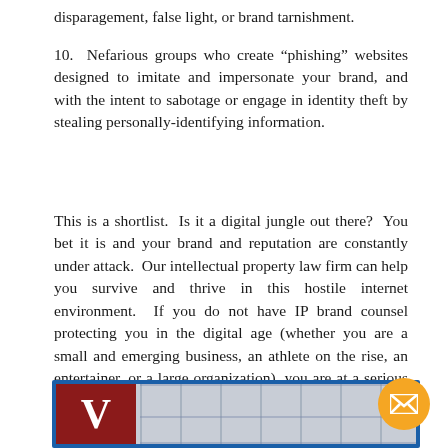disparagement, false light, or brand tarnishment.
10.  Nefarious groups who create “phishing” websites designed to imitate and impersonate your brand, and with the intent to sabotage or engage in identity theft by stealing personally-identifying information.
This is a shortlist.  Is it a digital jungle out there?  You bet it is and your brand and reputation are constantly under attack.  Our intellectual property law firm can help you survive and thrive in this hostile internet environment.  If you do not have IP brand counsel protecting you in the digital age (whether you are a small and emerging business, an athlete on the rise, an entertainer, or a large organization), you are at a serious disadvantage.  We are here to serve as your brand and trademark watchdog.
[Figure (photo): Bottom portion of a law firm building exterior with a red logo featuring the letter V, partially visible, with blue border framing.]